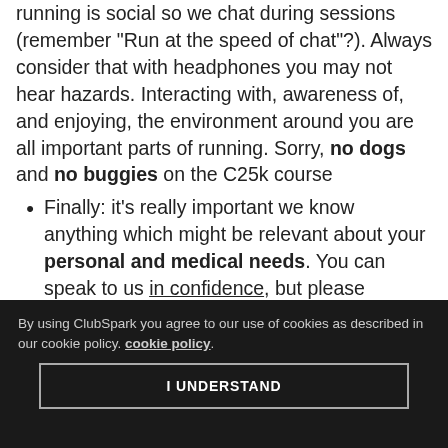running is social so we chat during sessions (remember "Run at the speed of chat"?). Always consider that with headphones you may not hear hazards. Interacting with, awareness of, and enjoying, the environment around you are all important parts of running. Sorry, no dogs and no buggies on the C25k course
Finally: it's really important we know anything which might be relevant about your personal and medical needs. You can speak to us in confidence, but please disclose everything on
By using ClubSpark you agree to our use of cookies as described in our cookie policy. cookie policy.
I UNDERSTAND